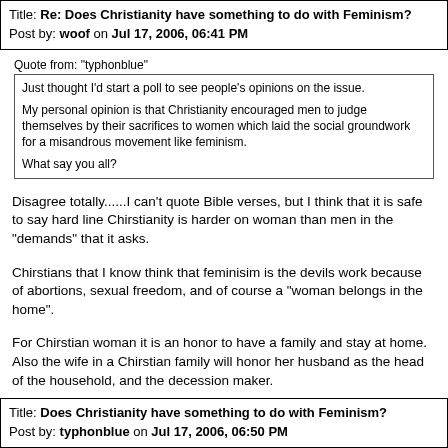Title: Re: Does Christianity have something to do with Feminism?
Post by: woof on Jul 17, 2006, 06:41 PM
Quote from: "typhonblue"
Just thought I'd start a poll to see people's opinions on the issue.

My personal opinion is that Christianity encouraged men to judge themselves by their sacrifices to women which laid the social groundwork for a misandrous movement like feminism.

What say you all?
Disagree totally......I can't quote Bible verses, but I think that it is safe to say hard line Chirstianity is harder on woman than men in the "demands" that it asks.
Chirstians that I know think that feminisim is the devils work because of abortions, sexual freedom, and of course a "woman belongs in the home".
For Chirstian woman it is an honor to have a family and stay at home. Also the wife in a Chirstian family will honor her husband as the head of the household, and the decession maker.
The roles for men and woman are pretty clearly stated in the Bible, this goes against everything "feminist".
Title: Does Christianity have something to do with Feminism?
Post by: typhonblue on Jul 17, 2006, 06:50 PM